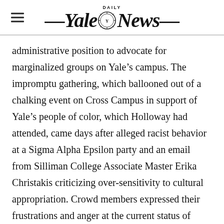Yale Daily News
administrative position to advocate for marginalized groups on Yale’s campus. The impromptu gathering, which ballooned out of a chalking event on Cross Campus in support of Yale’s people of color, which Holloway had attended, came days after alleged racist behavior at a Sigma Alpha Epsilon party and an email from Silliman College Associate Master Erika Christakis criticizing over-sensitivity to cultural appropriation. Crowd members expressed their frustrations and anger at the current status of minorities on Yale’s campus. In addition to voicing their outrage and disappointment at the administration’s perceived inaction, minority students asked Holloway a question: To whom in the University administration can